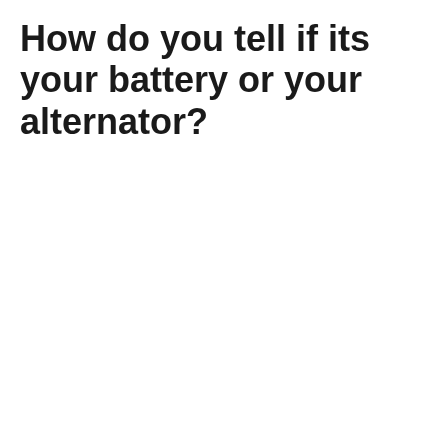How do you tell if its your battery or your alternator?